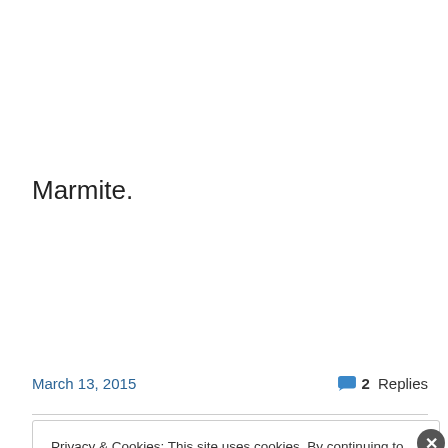Marmite.
Prints available here
March 13, 2015     2 Replies
Privacy & Cookies: This site uses cookies. By continuing to use this website, you agree to their use.
To find out more, including how to control cookies, see here: Cookie Policy
Close and accept